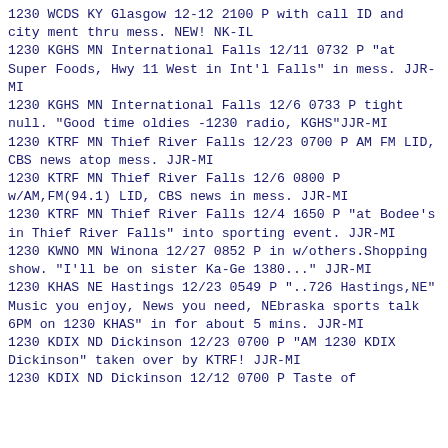1230 WCDS KY Glasgow 12-12 2100 P with call ID and city ment thru mess. NEW! NK-IL
1230 KGHS MN International Falls 12/11 0732 P "at Super Foods, Hwy 11 West in Int'l Falls" in mess. JJR-MI
1230 KGHS MN International Falls 12/6 0733 P tight null. "Good time oldies -1230 radio, KGHS"JJR-MI
1230 KTRF MN Thief River Falls 12/23 0700 P AM FM LID, CBS news atop mess. JJR-MI
1230 KTRF MN Thief River Falls 12/6 0800 P w/AM,FM(94.1) LID, CBS news in mess. JJR-MI
1230 KTRF MN Thief River Falls 12/4 1650 P "at Bodee's in Thief River Falls" into sporting event. JJR-MI
1230 KWNO MN Winona 12/27 0852 P in w/others.Shopping show. "I'll be on sister Ka-Ge 1380..." JJR-MI
1230 KHAS NE Hastings 12/23 0549 P "..726 Hastings,NE" Music you enjoy, News you need, NEbraska sports talk 6PM on 1230 KHAS" in for about 5 mins. JJR-MI
1230 KDIX ND Dickinson 12/23 0700 P "AM 1230 KDIX Dickinson" taken over by KTRF! JJR-MI
1230 KDIX ND Dickinson 12/12 0700 P Taste of